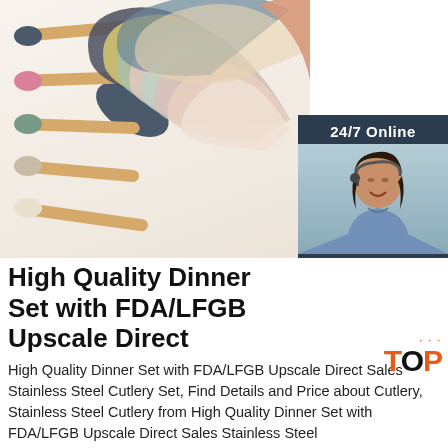[Figure (photo): Colorful silicone spatulas and wooden spoons arranged in a fan pattern, showing multiple pastel and earth-tone colors including dark gray, yellow, green, pink, sage, tan, and cream. On the right side is a customer service representative photo with a headset, labeled 24/7 Online with a chat/quotation call-to-action box.]
High Quality Dinner Set with FDA/LFGB Upscale Direct
High Quality Dinner Set with FDA/LFGB Upscale Direct Sales Stainless Steel Cutlery Set, Find Details and Price about Cutlery, Stainless Steel Cutlery from High Quality Dinner Set with FDA/LFGB Upscale Direct Sales Stainless Steel